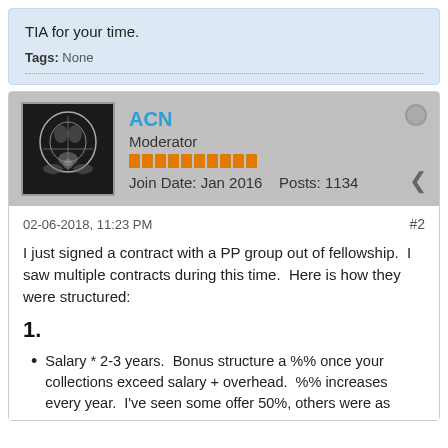TIA for your time.
Tags: None
ACN
Moderator
Join Date: Jan 2016    Posts: 1134
02-06-2018, 11:23 PM
#2
I just signed a contract with a PP group out of fellowship.  I saw multiple contracts during this time.  Here is how they were structured:
1.
Salary * 2-3 years.  Bonus structure a %% once your collections exceed salary + overhead.  %% increases every year.  I've seen some offer 50%, others were as